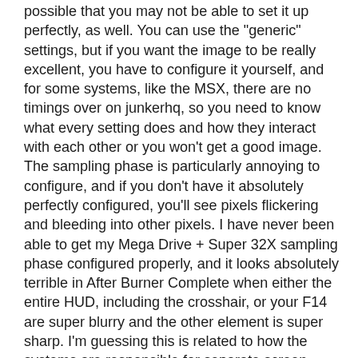possible that you may not be able to set it up perfectly, as well. You can use the "generic" settings, but if you want the image to be really excellent, you have to configure it yourself, and for some systems, like the MSX, there are no timings over on junkerhq, so you need to know what every setting does and how they interact with each other or you won't get a good image. The sampling phase is particularly annoying to configure, and if you don't have it absolutely perfectly configured, you'll see pixels flickering and bleeding into other pixels. I have never been able to get my Mega Drive + Super 32X sampling phase configured properly, and it looks absolutely terrible in After Burner Complete when either the entire HUD, including the crosshair, or your F14 are super blurry and the other element is super sharp. I'm guessing this is related to how the systems are responsible for separate screen elements, but it's still disappointing that I've not been able to find a solution.